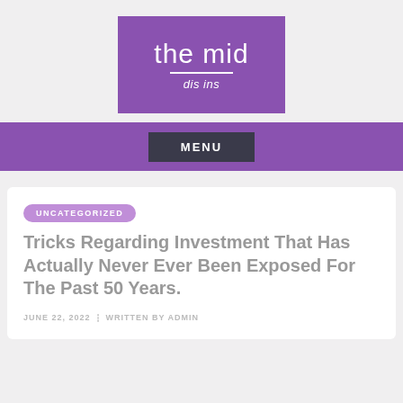[Figure (logo): Purple rectangle logo with text 'the mid' and subtitle 'dis ins']
MENU
UNCATEGORIZED
Tricks Regarding Investment That Has Actually Never Ever Been Exposed For The Past 50 Years.
JUNE 22, 2022  ⁝  WRITTEN BY ADMIN